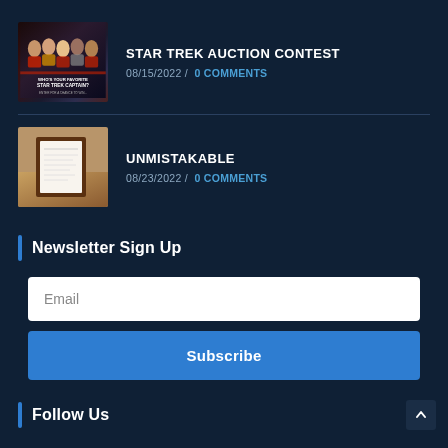[Figure (photo): Thumbnail image for Star Trek Auction Contest article showing Star Trek captains with text 'WHO'S YOUR FAVORITE STAR TREK CAPTAIN?']
STAR TREK AUCTION CONTEST
08/15/2022 /  0 COMMENTS
[Figure (photo): Thumbnail image for Unmistakable article showing a framed document/certificate on a brown wooden surface]
UNMISTAKABLE
08/23/2022 /  0 COMMENTS
Newsletter Sign Up
Email
Subscribe
Follow Us